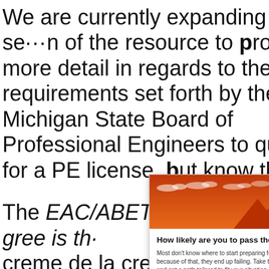We are currently expanding this section of the resource to provide more detail in regards to the requirements set forth by the Michigan State Board of Professional Engineers to qualify for a PE license, but know this...
The EAC/ABET accredited degree is the creme de la creme when it comes to fulfilling Michigan's education requirements, but it's not the only route...
[Figure (screenshot): A popup advertisement overlay with an orange mountain landscape header image and a quiz prompt: 'How likely are you to pass the FE Exam?' with a 'TAKE THE QUIZ' button.]